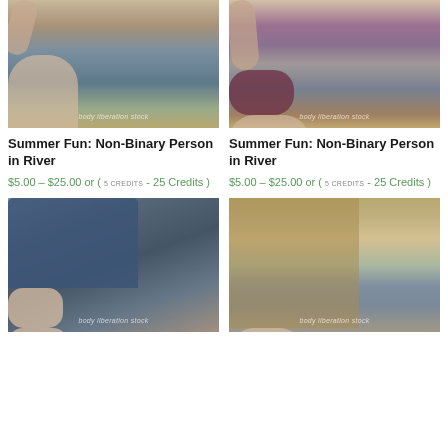[Figure (photo): Person with tattoos sitting in a river, wearing jeans, body liberation stock watermark]
[Figure (photo): Person with tattoo sleeve and maroon bra top sitting in river, body liberation stock watermark]
Summer Fun: Non-Binary Person in River
$5.00 – $25.00 or ( 5 CREDITS - 25 Credits )
Summer Fun: Non-Binary Person in River
$5.00 – $25.00 or ( 5 CREDITS - 25 Credits )
[Figure (photo): Close-up of tattooed hands in denim jeans, body liberation stock watermark]
[Figure (photo): Person with teal/green short hair wearing maroon bralette sitting in river with tattoos, body liberation stock watermark]